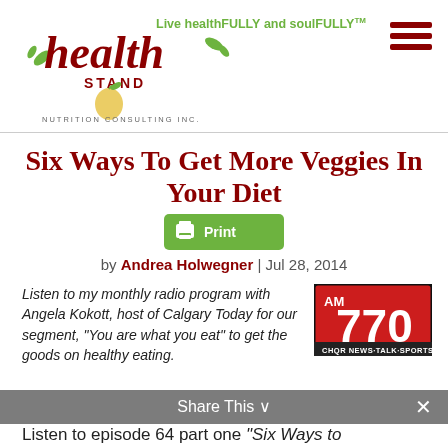[Figure (logo): Health Stand Nutrition Consulting Inc. logo with stylized text, leaves, and apple graphic]
Live healthFULLY and soulFULLY™
[Figure (illustration): Hamburger menu icon (three horizontal dark red lines)]
Six Ways To Get More Veggies In Your Diet
[Figure (illustration): Green Print button with printer icon]
by Andrea Holwegner | Jul 28, 2014
Listen to my monthly radio program with Angela Kokott, host of Calgary Today for our segment, "You are what you eat" to get the goods on healthy eating.
[Figure (logo): AM 770 CHQR News Talk Sports radio station logo — red background with large 770 text]
Share This ∨   ×
Listen to episode 64 part one "Six Ways to